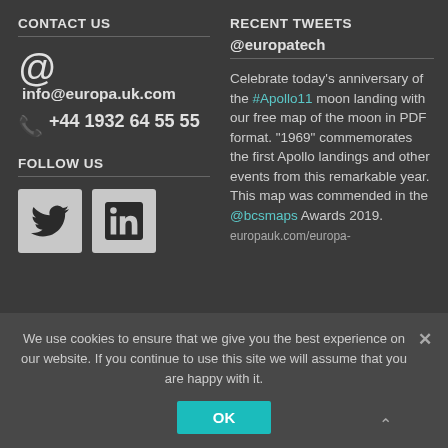CONTACT US
@ info@europa.uk.com
+44 1932 64 55 55
FOLLOW US
[Figure (illustration): Twitter bird icon in a light square box]
[Figure (illustration): LinkedIn 'in' icon in a light square box]
RECENT TWEETS
@europatech
Celebrate today’s anniversary of the #Apollo11 moon landing with our free map of the moon in PDF format. “1969” commemorates the first Apollo landings and other events from this remarkable year. This map was commended in the @bcsmaps Awards 2019. europauk.com/europa-
We use cookies to ensure that we give you the best experience on our website. If you continue to use this site we will assume that you are happy with it.
OK